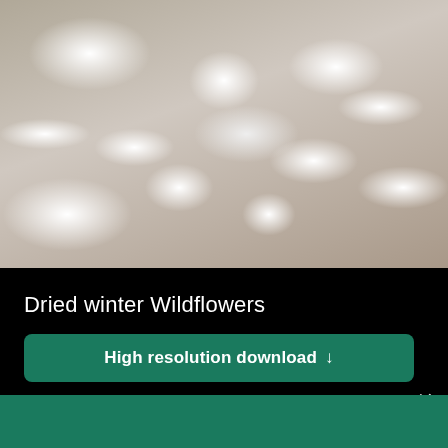[Figure (photo): Dried winter wildflowers covered in snow, blurred botanical background in muted beige and grey tones]
Dried winter Wildflowers
High resolution download ↓
[Figure (logo): Shopify logo with shopping bag icon and italic 'shopify' wordmark in white]
Need an online store for your business?
Start free trial